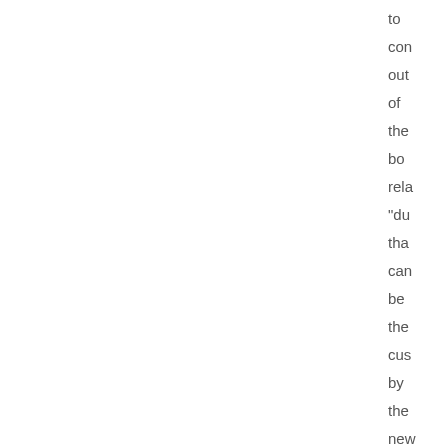to
con
out
of
the
bo
rela
"du
tha
can
be
the
cus
by
the
new
ow